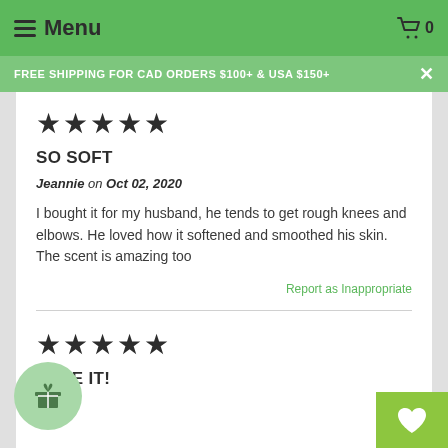Menu  🛒 0
FREE SHIPPING FOR CAD ORDERS $100+ & USA $150+
★★★★★
SO SOFT
Jeannie on Oct 02, 2020
I bought it for my husband, he tends to get rough knees and elbows. He loved how it softened and smoothed his skin. The scent is amazing too
Report as Inappropriate
★★★★★
LOVE IT!